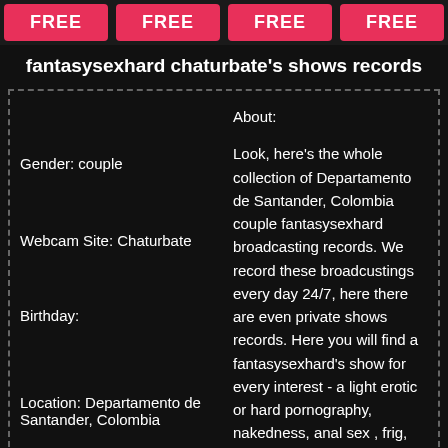FREE FREE FREE FREE
fantasysexhard chaturbate's shows records
Gender: couple
Webcam Site: Chaturbate
Birthday:
Location: Departamento de Santander, Colombia
About:

Look, here's the whole collection of Departamento de Santander, Colombia couple fantasysexhard broadcasting records. We record these broadcustings every day 24/7, here there are even private shows records. Here you will find a fantasysexhard's show for every interest - a light erotic or hard pornography, nakedness, anal sex , frig,